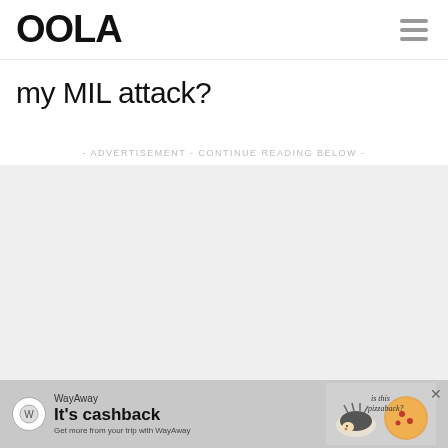OOLA
my MIL attack?
- ADVERTISEMENT - CONTINUE READING BELOW -
[Figure (other): Grey advertisement placeholder area]
[Figure (other): WayAway banner advertisement: It's cashback - Get more from your trip with WayAway, with pizza hedgehog illustration]